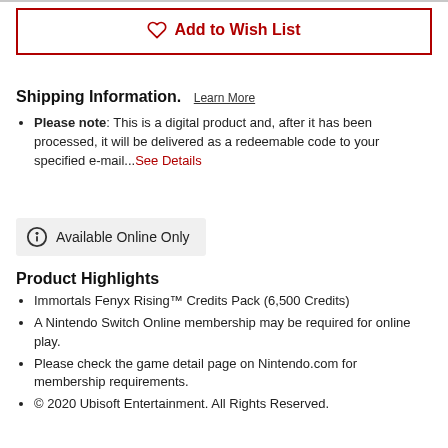Add to Wish List
Shipping Information. Learn More
Please note: This is a digital product and, after it has been processed, it will be delivered as a redeemable code to your specified e-mail...See Details
Available Online Only
Product Highlights
Immortals Fenyx Rising™ Credits Pack (6,500 Credits)
A Nintendo Switch Online membership may be required for online play.
Please check the game detail page on Nintendo.com for membership requirements.
© 2020 Ubisoft Entertainment. All Rights Reserved.